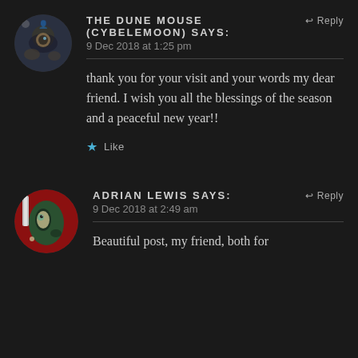THE DUNE MOUSE (CYBELEMOON) says:
9 Dec 2018 at 1:25 pm
thank you for your visit and your words my dear friend. I wish you all the blessings of the season and a peaceful new year!!
Like
ADRIAN LEWIS says:
9 Dec 2018 at 2:49 am
Beautiful post, my friend, both for